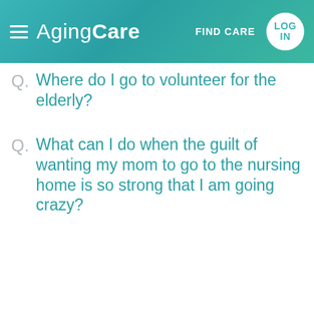AgingCare — FIND CARE — LOG IN
Q. Where do I go to volunteer for the elderly?
Q. What can I do when the guilt of wanting my mom to go to the nursing home is so strong that I am going crazy?
Start a Discussion
Karen — I can help you compare costs & services for FREE!